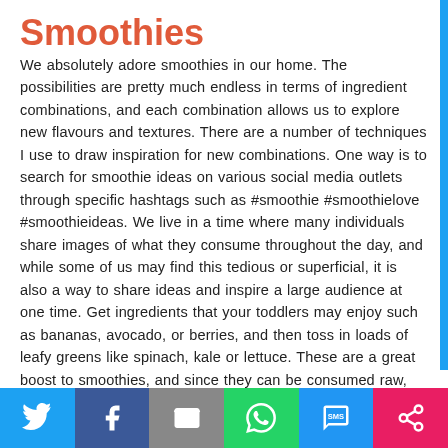Smoothies
We absolutely adore smoothies in our home. The possibilities are pretty much endless in terms of ingredient combinations, and each combination allows us to explore new flavours and textures. There are a number of techniques I use to draw inspiration for new combinations. One way is to search for smoothie ideas on various social media outlets through specific hashtags such as #smoothie #smoothielove #smoothieideas. We live in a time where many individuals share images of what they consume throughout the day, and while some of us may find this tedious or superficial, it is also a way to share ideas and inspire a large audience at one time. Get ingredients that your toddlers may enjoy such as bananas, avocado, or berries, and then toss in loads of leafy greens like spinach, kale or lettuce. These are a great boost to smoothies, and since they can be consumed raw, you have yourself a snack that can be prepared in minutes.